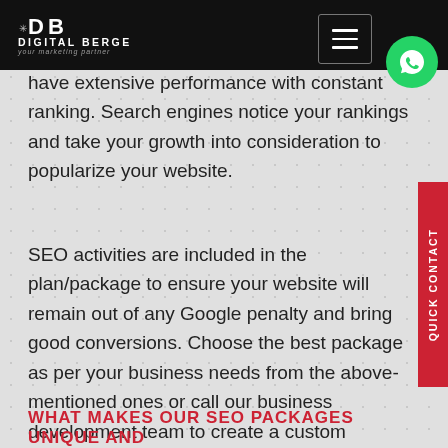DIGITAL BERGE — your marketing partner
have extensive performance with constant ranking. Search engines notice your rankings and take your growth into consideration to popularize your website.
SEO activities are included in the plan/package to ensure your website will remain out of any Google penalty and bring good conversions. Choose the best package as per your business needs from the above-mentioned ones or call our business development team to create a custom package as per your specific needs.
WHAT MAKES OUR SEO PACKAGES UNIQUE AND